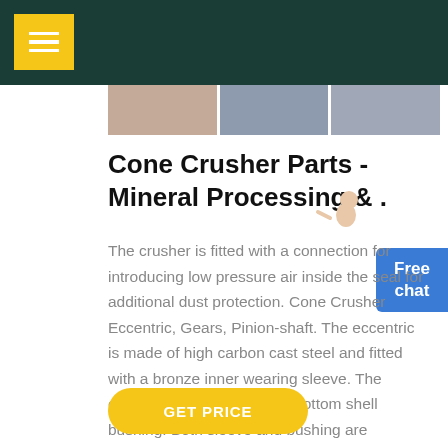[Figure (photo): Three thumbnail photos of cone crusher machinery parts in a strip]
Cone Crusher Parts - Mineral Processing & .
The crusher is fitted with a connection for introducing low pressure air inside the seal for additional dust protection. Cone Crusher Eccentric, Gears, Pinion-shaft. The eccentric is made of high carbon cast steel and fitted with a bronze inner wearing sleeve. The eccentric turns in a bronze bottom shell bushing. Both sleeve and bushing are replaceable. The eccentric throw can be changed in ...